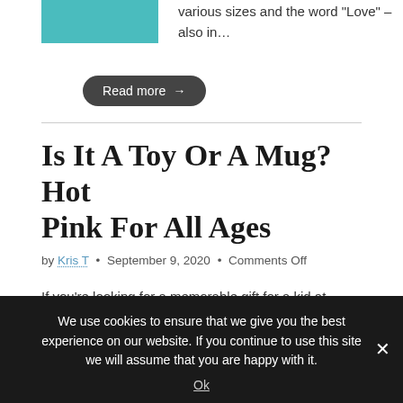[Figure (photo): Teal/turquoise colored image thumbnail (partial, cropped)]
various sizes and the word “Love” – also in…
Read more →
Is It A Toy Or A Mug? Hot Pink For All Ages
by Kris T • September 9, 2020 • Comments Off
If you’re looking for a memorable gift for a kid at heart, check out this unique and super fun mug. Made of BPA-plastic, it looks like a giant building brick toy. And it’s actually compatible with some
We use cookies to ensure that we give you the best experience on our website. If you continue to use this site we will assume that you are happy with it.
Ok